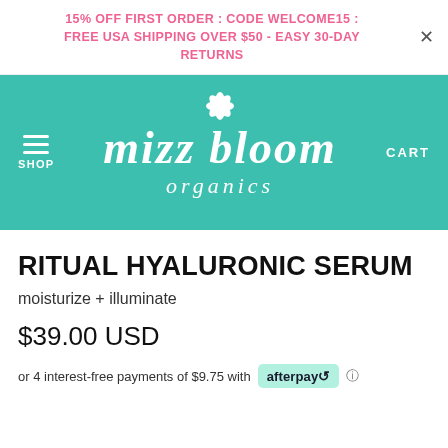15% OFF FIRST ORDER : code WELCOME15 : FREE USA SHIPPING OVER $50 - EASY 30-DAY RETURNS
[Figure (logo): Mizz Bloom Organics logo with teal background, white handwritten text 'mizz bloom organics' with a lotus flower icon, flanked by SHOP hamburger menu and CART link]
RITUAL HYALURONIC SERUM
moisturize + illuminate
$39.00 USD
or 4 interest-free payments of $9.75 with afterpay